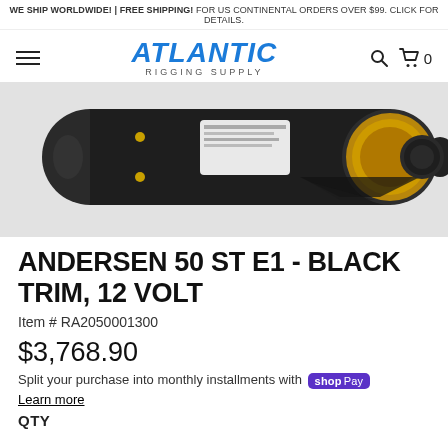WE SHIP WORLDWIDE! | FREE SHIPPING! FOR US CONTINENTAL ORDERS OVER $99. CLICK FOR DETAILS.
[Figure (logo): Atlantic Rigging Supply logo with hamburger menu, search icon, and cart icon showing 0 items]
[Figure (photo): Close-up photo of an Andersen 50 ST E1 black trim 12 volt electric winch, showing black housing with gold/brass motor components and label]
ANDERSEN 50 ST E1 - BLACK TRIM, 12 VOLT
Item # RA2050001300
$3,768.90
Split your purchase into monthly installments with shop Pay
Learn more
QTY